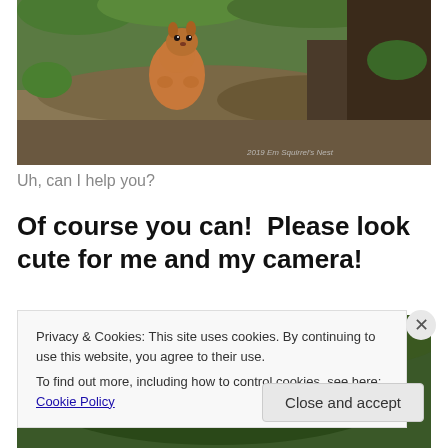[Figure (photo): A squirrel photographed outdoors near rocks and green foliage, looking toward the camera. Watermark reads '2019 Em Squirrel's Nest'.]
Uh, can I help you?
Of course you can!  Please look cute for me and my camera!
[Figure (photo): Partial view of a second outdoor photo showing green foliage, partially obscured by the cookie consent banner.]
Privacy & Cookies: This site uses cookies. By continuing to use this website, you agree to their use.
To find out more, including how to control cookies, see here: Cookie Policy
Close and accept